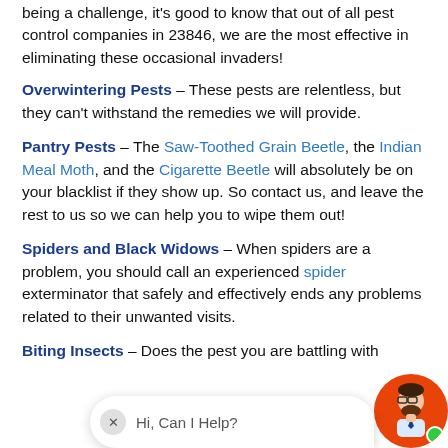being a challenge, it's good to know that out of all pest control companies in 23846, we are the most effective in eliminating these occasional invaders!
Overwintering Pests – These pests are relentless, but they can't withstand the remedies we will provide.
Pantry Pests – The Saw-Toothed Grain Beetle, the Indian Meal Moth, and the Cigarette Beetle will absolutely be on your blacklist if they show up. So contact us, and leave the rest to us so we can help you to wipe them out!
Spiders and Black Widows – When spiders are a problem, you should call an experienced spider exterminator that safely and effectively ends any problems related to their unwanted visits.
Biting Insects – Does the pest you are battling with
[Figure (other): Chat widget overlay with close button, 'Hi, Can I Help?' text, and avatar of bearded man with green online indicator]